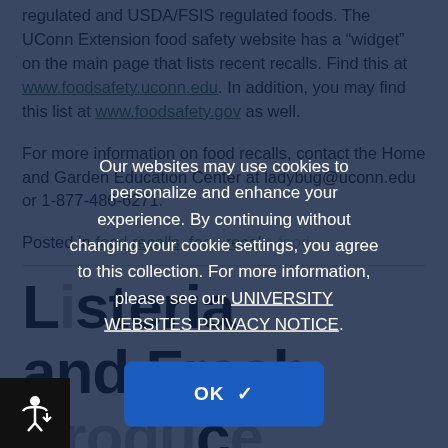regulated and USDA/FSIS regulated foods. The UConn Extension food safety website has a “widget” on the main page that lists recent recalls. Find this at www.foodsafety.uconn.edu. In addition, you may find this list at www.foodsafety.gov as well.
For more information on food recalls, contact the Home and Garden Education Center at ladybug@uconn.edu or 1-877-486-6271.
Posted in food recalls, food safety
Listeria and Fresh Produce
Posted on February 5, 2016
Our websites may use cookies to personalize and enhance your experience. By continuing without changing your cookie settings, you agree to this collection. For more information, please see our UNIVERSITY WEBSITES PRIVACY NOTICE.
OK